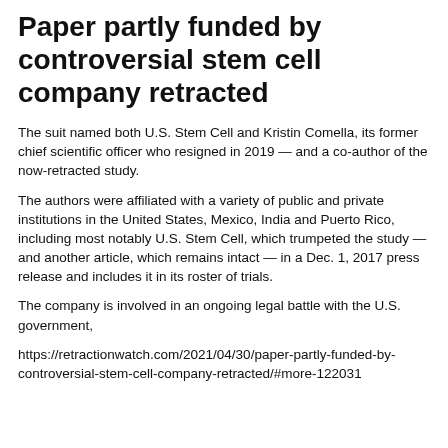Paper partly funded by controversial stem cell company retracted
The suit named both U.S. Stem Cell and Kristin Comella, its former chief scientific officer who resigned in 2019 — and a co-author of the now-retracted study.
The authors were affiliated with a variety of public and private institutions in the United States, Mexico, India and Puerto Rico, including most notably U.S. Stem Cell, which trumpeted the study — and another article, which remains intact — in a Dec. 1, 2017 press release and includes it in its roster of trials.
The company is involved in an ongoing legal battle with the U.S. government,
https://retractionwatch.com/2021/04/30/paper-partly-funded-by-controversial-stem-cell-company-retracted/#more-122031